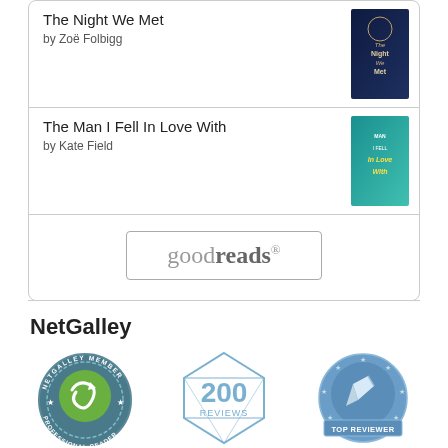The Night We Met
by Zoë Folbigg
[Figure (illustration): Book cover for The Night We Met]
The Man I Fell In Love With
by Kate Field
[Figure (illustration): Book cover for The Man I Fell In Love With]
[Figure (logo): Goodreads logo button]
NetGalley
[Figure (logo): NetGalley Member Professional Reader badge]
[Figure (logo): 200 Reviews badge]
[Figure (logo): Top Reviewer badge]